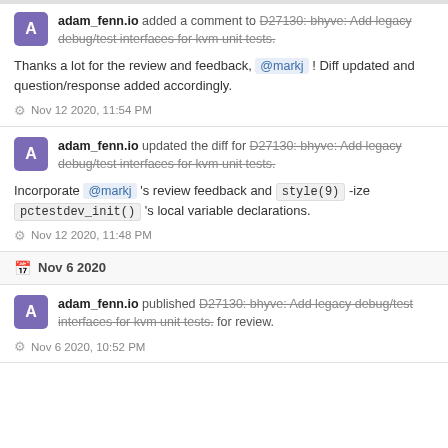adam_fenn.io added a comment to D27130: bhyve: Add legacy debug/test interfaces for kvm unit tests.
Thanks a lot for the review and feedback, @markj ! Diff updated and question/response added accordingly.
Nov 12 2020, 11:54 PM
adam_fenn.io updated the diff for D27130: bhyve: Add legacy debug/test interfaces for kvm unit tests.
Incorporate @markj 's review feedback and style(9) -ize pctestdev_init() 's local variable declarations.
Nov 12 2020, 11:48 PM
Nov 6 2020
adam_fenn.io published D27130: bhyve: Add legacy debug/test interfaces for kvm unit tests. for review.
Nov 6 2020, 10:52 PM